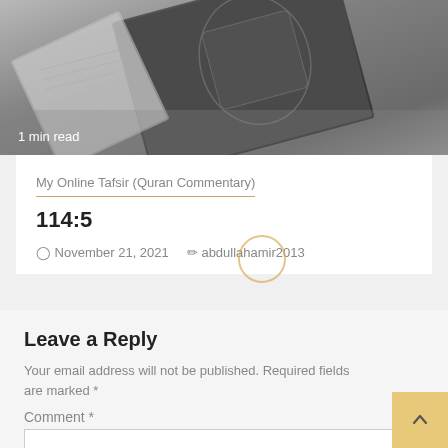[Figure (photo): Photo of an ornate Quran book with decorative cover, shown in grayscale tones]
1 min read
My Online Tafsir (Quran Commentary)
114:5
November 21, 2021   abdullahamir2013
Leave a Reply
Your email address will not be published. Required fields are marked *
Comment *